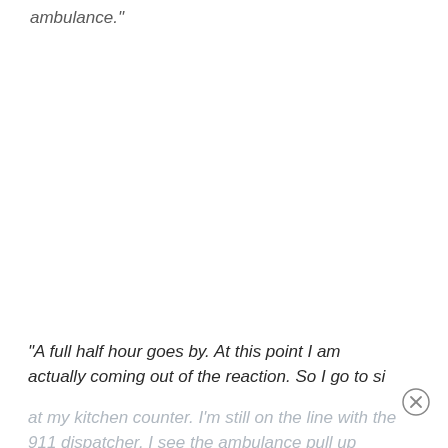ambulance."
"A full half hour goes by. At this point I am actually coming out of the reaction. So I go to sit at my kitchen counter. I'm still on the line with the 911 dispatcher. I see the ambulance pull up